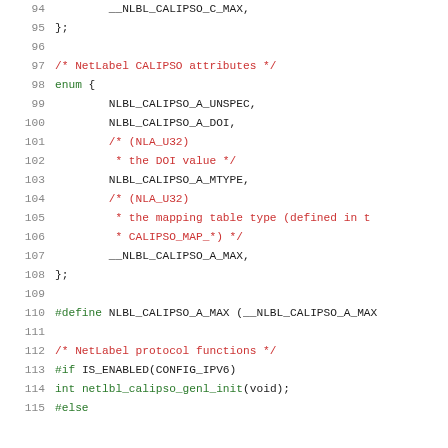[Figure (screenshot): Source code listing showing C enum definition for NetLabel CALIPSO attributes and associated preprocessor directives, lines 94-115]
94: __NLBL_CALIPSO_C_MAX,
95: };
96: (blank)
97: /* NetLabel CALIPSO attributes */
98: enum {
99: NLBL_CALIPSO_A_UNSPEC,
100: NLBL_CALIPSO_A_DOI,
101: /* (NLA_U32)
102: * the DOI value */
103: NLBL_CALIPSO_A_MTYPE,
104: /* (NLA_U32)
105: * the mapping table type (defined in t
106: * CALIPSO_MAP_*) */
107: __NLBL_CALIPSO_A_MAX,
108: };
109: (blank)
110: #define NLBL_CALIPSO_A_MAX (__NLBL_CALIPSO_A_MAX
111: (blank)
112: /* NetLabel protocol functions */
113: #if IS_ENABLED(CONFIG_IPV6)
114: int netlbl_calipso_genl_init(void);
115: #else